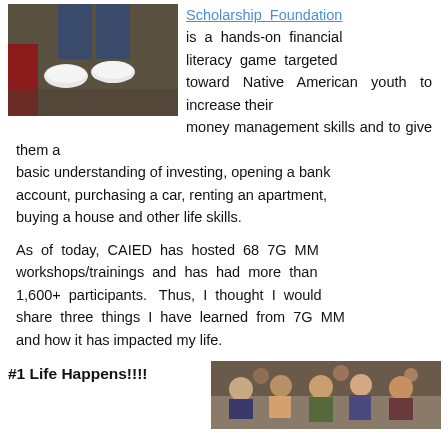[Figure (photo): Photo of person's legs and white sneakers on dark floor, partial red couch visible]
Scholarship Foundation is a hands-on financial literacy game targeted toward Native American youth to increase their money management skills and to give them a basic understanding of investing, opening a bank account, purchasing a car, renting an apartment, buying a house and other life skills.
As of today, CAIED has hosted 68 7G MM workshops/trainings and has had more than 1,600+ participants. Thus, I thought I would share three things I have learned from 7G MM and how it has impacted my life.
#1 Life Happens!!!!
[Figure (photo): Photo of group of students/participants sitting at tables during a workshop or training session]